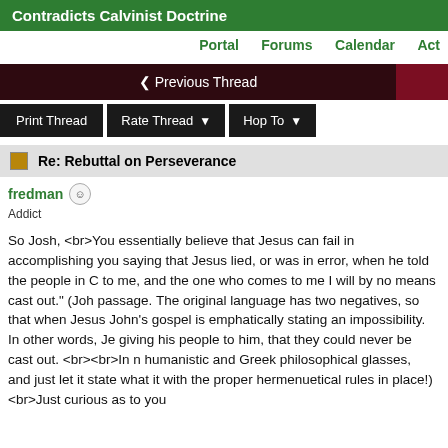Contradicts Calvinist Doctrine
Portal  Forums  Calendar  Act
< Previous Thread
Print Thread  Rate Thread  Hop To
Re: Rebuttal on Perseverance
fredman
Addict
So Josh, <br>You essentially believe that Jesus can fail in accomplishing you saying that Jesus lied, or was in error, when he told the people in C to me, and the one who comes to me I will by no means cast out." (Joh passage. The original language has two negatives, so that when Jesus John's gospel is emphatically stating an impossibility. In other words, Je giving his people to him, that they could never be cast out. <br><br>In n humanistic and Greek philosophical glasses, and just let it state what it with the proper hermenuetical rules in place!)<br>Just curious as to you